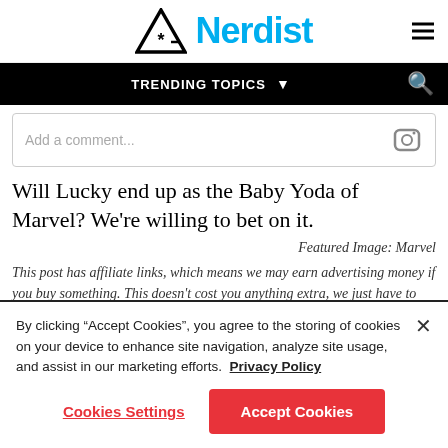Nerdist
TRENDING TOPICS
Add a comment...
Will Lucky end up as the Baby Yoda of Marvel? We're willing to bet on it.
Featured Image: Marvel
This post has affiliate links, which means we may earn advertising money if you buy something. This doesn't cost you anything extra, we just have to
By clicking "Accept Cookies", you agree to the storing of cookies on your device to enhance site navigation, analyze site usage, and assist in our marketing efforts. Privacy Policy
Cookies Settings
Accept Cookies